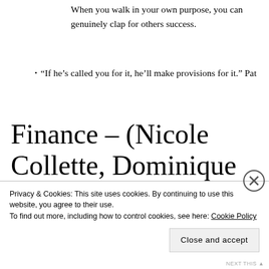When you walk in your own purpose, you can genuinely clap for others success.
“If he’s called you for it, he’ll make provisions for it.” Pat
Finance – (Nicole Collette, Dominique Broadway, Erika Blair, Ngum Sue)
Theme: How to build wealth and financially
Privacy & Cookies: This site uses cookies. By continuing to use this website, you agree to their use.
To find out more, including how to control cookies, see here: Cookie Policy